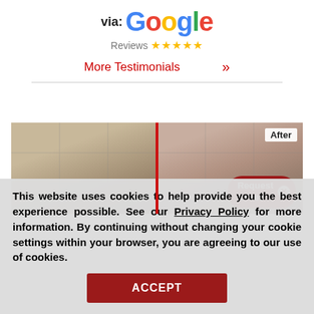[Figure (logo): via: Google Reviews logo with colored Google letters and 5 gold stars]
More Testimonials  »
[Figure (photo): Before and After comparison photo of flooring/baseboard area split by a red vertical line, with 'After' label and 'Request a Free' popup button]
This website uses cookies to help provide you the best experience possible. See our Privacy Policy for more information. By continuing without changing your cookie settings within your browser, you are agreeing to our use of cookies.
ACCEPT